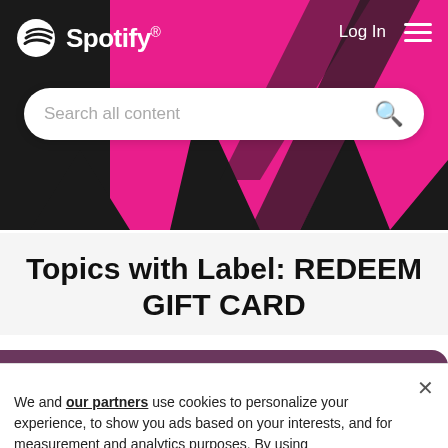[Figure (screenshot): Spotify header with logo, Log In button, hamburger menu, pink/black decorative background with triangular shapes, and search bar reading 'Search all content']
Home / Help / Subscriptions
Topics with Label: REDEEM GIFT CARD
We and our partners use cookies to personalize your experience, to show you ads based on your interests, and for measurement and analytics purposes. By using